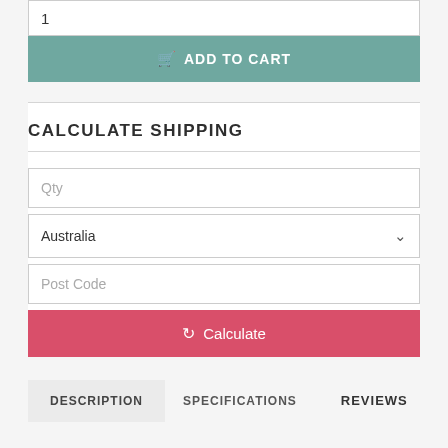1
ADD TO CART
CALCULATE SHIPPING
Qty
Australia
Post Code
Calculate
DESCRIPTION
SPECIFICATIONS
REVIEWS